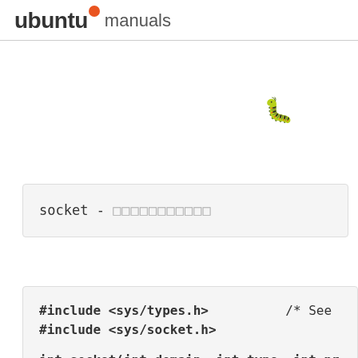ubuntu manuals
[Figure (illustration): Bug/beetle emoji icon positioned in the upper right area of the page]
socket - □□□□□□□□□□□
#include <sys/types.h>          /* See
#include <sys/socket.h>

int socket(int domain, int type, int pr